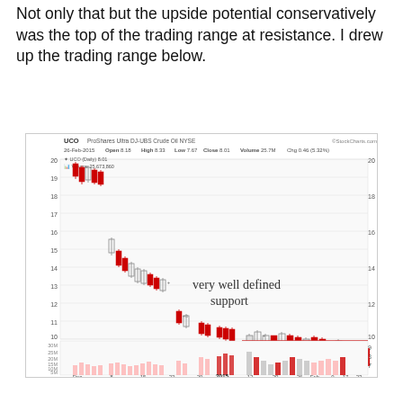Not only that but the upside potential conservatively was the top of the trading range at resistance. I drew up the trading range below.
[Figure (continuous-plot): UCO ProShares Ultra DJ-UBS Crude Oil NYSE daily candlestick chart from Dec 2014 to late Feb 2015 shown on StockCharts.com. Date: 26-Feb-2015, Open 8.18, High 8.33, Low 7.67, Close 8.01, Volume 25.7M, Chg 0.46 (5.32%). Price range approximately 7-20. Red horizontal resistance line drawn near 10. Red horizontal support line drawn near 8. Large arrow pointing right toward the support zone. Text annotation: 'very well defined support'. Volume bars shown at bottom with 30M, 25M, 20M, 15M, 10M, 5M scale. Price axis labels: 7, 8, 9, 10, 11, 12, 13, 14, 15, 16, 17, 18, 19, 20. X-axis labels: Dec, 8, 15, 22, 29, 2015, 12, 20, 26, Feb, 9, 17, 23.]